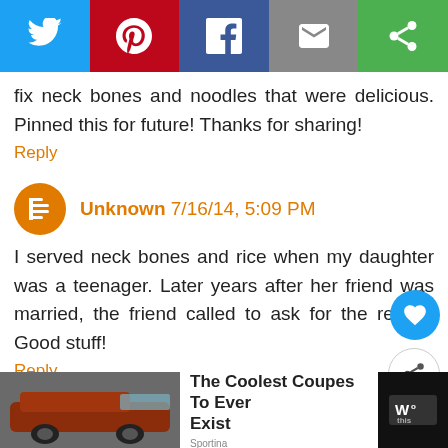[Figure (other): Social media share bar with Twitter, Pinterest, Facebook, Email, and other share buttons]
fix neck bones and noodles that were delicious. Pinned this for future! Thanks for sharing!
Reply
Unknown 7/16/14, 5:09 PM
I served neck bones and rice when my daughter was a teenager. Later years after her friend was married, the friend called to ask for the recipe. Good stuff!
Reply
Anonymous 7/17/14, 12:45 AM
WHAT'S NEXT → Country-Style Ribs & Rice
The Coolest Coupes To Ever Exist